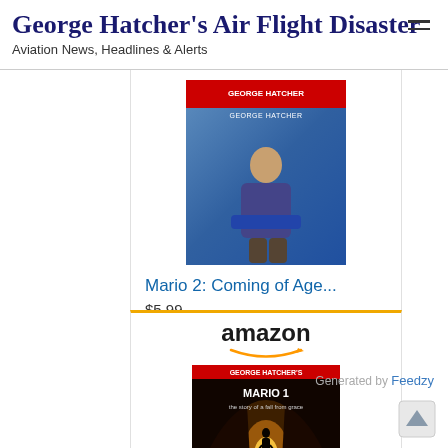George Hatcher's Air Flight Disaster
Aviation News, Headlines & Alerts
[Figure (illustration): Book cover for Mario 2: Coming of Age - shows a young person on blue background with red header bar]
Mario 2: Coming of Age...
$5.99
[Figure (illustration): Amazon Shop now button with Amazon 'a' logo on golden yellow background]
[Figure (illustration): Amazon logo with smile arrow, and book cover for Mario 1: Woman - dark tunnel scene with figure walking toward light]
Mario 1: Woman
Generated by Feedzy